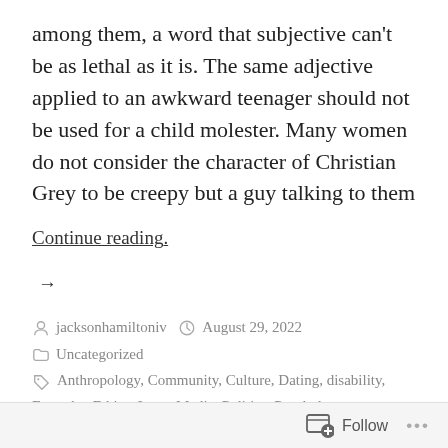among them, a word that subjective can't be as lethal as it is. The same adjective applied to an awkward teenager should not be used for a child molester. Many women do not consider the character of Christian Grey to be creepy but a guy talking to them
Continue reading. →
jacksonhamiltoniv  August 29, 2022  Uncategorized  Anthropology, Community, Culture, Dating, disability, Empathy, Ethics, Love, Media, Politics, Psychology, Relationships, Romance, Sex, Sexuality, Sociology  Leave a comment
Follow ···